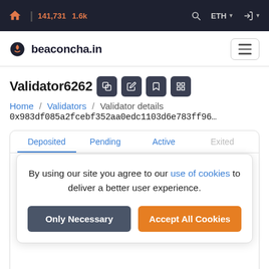🏠 | 141,731  1.6k    🔍  ETH ▾  ➡ ▾
beaconcha.in
Validator6262
Home / Validators / Validator details
0x983df085a2fcebf352aa0edc1103d6e783ff96…
| Deposited | Pending | Active | Exited |
| --- | --- | --- | --- |
By using our site you agree to our use of cookies to deliver a better user experience.
Only Necessary | Accept All Cookies
Effectiveness